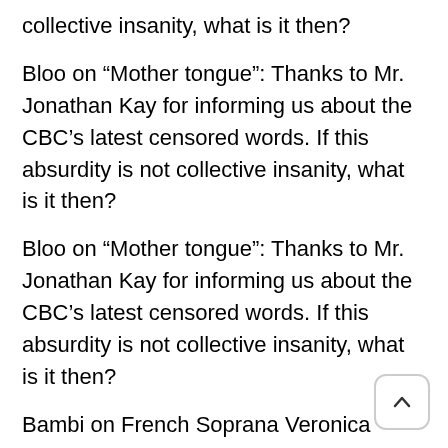collective insanity, what is it then?
Bloo on “Mother tongue”: Thanks to Mr. Jonathan Kay for informing us about the CBC’s latest censored words. If this absurdity is not collective insanity, what is it then?
Bloo on “Mother tongue”: Thanks to Mr. Jonathan Kay for informing us about the CBC’s latest censored words. If this absurdity is not collective insanity, what is it then?
Bambi on French Soprana Veronica Antonelli sang the Lebanese national anthem. Thanks and bravo for her Arabic!
Achim Wollmershäuser on French Soprana Veronica Antonelli sang the Lebanese national anthem. Thanks and bravo for her Arabic!